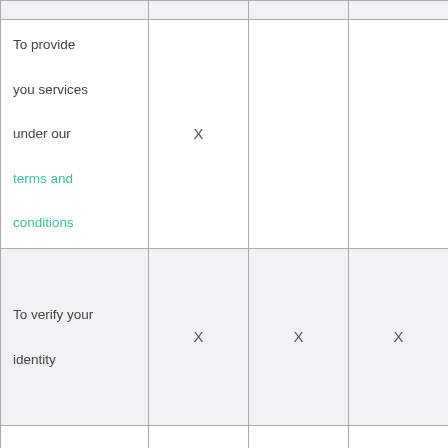| Purpose | Col2 | Col3 | Col4 |
| --- | --- | --- | --- |
| To provide you services under our terms and conditions | X |  |  |
| To verify your identity | X | X | X |
| To deal with enquiries or | X |  | X |